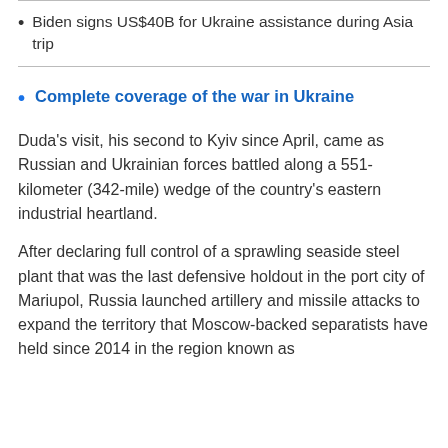Biden signs US$40B for Ukraine assistance during Asia trip
Complete coverage of the war in Ukraine
Duda's visit, his second to Kyiv since April, came as Russian and Ukrainian forces battled along a 551-kilometer (342-mile) wedge of the country's eastern industrial heartland.
After declaring full control of a sprawling seaside steel plant that was the last defensive holdout in the port city of Mariupol, Russia launched artillery and missile attacks to expand the territory that Moscow-backed separatists have held since 2014 in the region known as